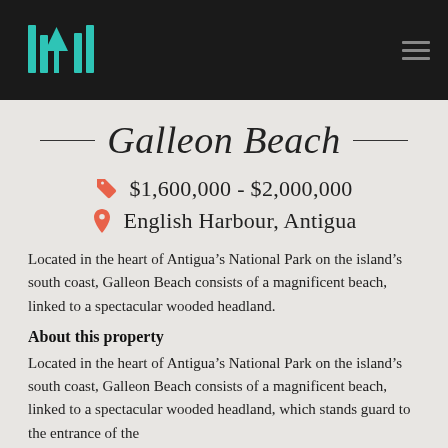[Figure (logo): Real estate company logo with teal vertical bars and a tree silhouette on dark background]
Galleon Beach
$1,600,000 - $2,000,000
English Harbour, Antigua
Located in the heart of Antigua’s National Park on the island’s south coast, Galleon Beach consists of a magnificent beach, linked to a spectacular wooded headland.
About this property
Located in the heart of Antigua’s National Park on the island’s south coast, Galleon Beach consists of a magnificent beach, linked to a spectacular wooded headland, which stands guard to the entrance of the